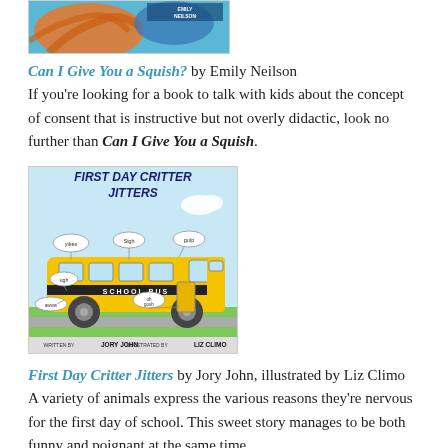[Figure (illustration): Book cover of 'Can I Give You a Squish?' by Emily Neilson, showing colorful underwater sea creatures.]
Can I Give You a Squish? by Emily Neilson
If you're looking for a book to talk with kids about the concept of consent that is instructive but not overly didactic, look no further than Can I Give You a Squish.
[Figure (illustration): Book cover of 'First Day Critter Jitters' written by Jory John, illustrated by Liz Climo, showing cartoon animals on a school bus with speech bubbles saying yikes, sigh, gulp, ugh, oh gosh, awww.]
First Day Critter Jitters by Jory John, illustrated by Liz Climo
A variety of animals express the various reasons they're nervous for the first day of school. This sweet story manages to be both funny and poignant at the same time.